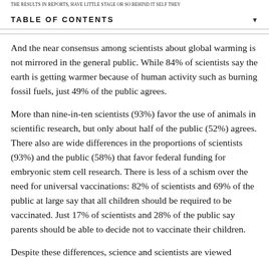THE RESULTS IN REPORTS, HAVE LITTLE STAGE OR SO BEHIND IT SELF THEY
TABLE OF CONTENTS
And the near consensus among scientists about global warming is not mirrored in the general public. While 84% of scientists say the earth is getting warmer because of human activity such as burning fossil fuels, just 49% of the public agrees.
More than nine-in-ten scientists (93%) favor the use of animals in scientific research, but only about half of the public (52%) agrees. There also are wide differences in the proportions of scientists (93%) and the public (58%) that favor federal funding for embryonic stem cell research. There is less of a schism over the need for universal vaccinations: 82% of scientists and 69% of the public at large say that all children should be required to be vaccinated. Just 17% of scientists and 28% of the public say parents should be able to decide not to vaccinate their children.
Despite these differences, science and scientists are viewed